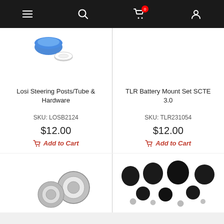Navigation bar with menu, search, cart (0), and user icons
[Figure (photo): Product image of Losi Steering Posts/Tube & Hardware - blue and white parts on white background]
Losi Steering Posts/Tube & Hardware
SKU: LOSB2124
$12.00
Add to Cart
[Figure (photo): Product image of TLR Battery Mount Set SCTE 3.0 - white background, no visible parts]
TLR Battery Mount Set SCTE 3.0
SKU: TLR231054
$12.00
Add to Cart
[Figure (photo): Product image showing small metal ball bearings on white background]
[Figure (photo): Product image showing multiple black rubber/plastic parts and small silver balls on white background]